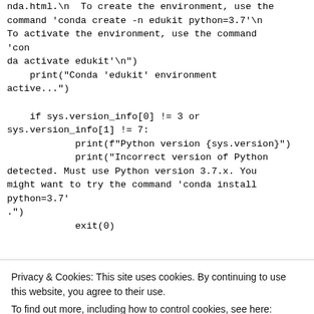nda.html.\n  To create the environment, use the command 'conda create -n edukit python=3.7'\n To activate the environment, use the command 'con
da activate edukit'\n")
    print("Conda 'edukit' environment active...")

    if sys.version_info[0] != 3 or sys.version_info[1] != 7:
            print(f"Python version {sys.version}")
            print("Incorrect version of Python detected. Must use Python version 3.7.x. You might want to try the command 'conda install python=3.7'
.")
            exit(0)
Privacy & Cookies: This site uses cookies. By continuing to use this website, you agree to their use.
To find out more, including how to control cookies, see here: Cookie Policy
if aws_iot_endpoint.returncode != 0: